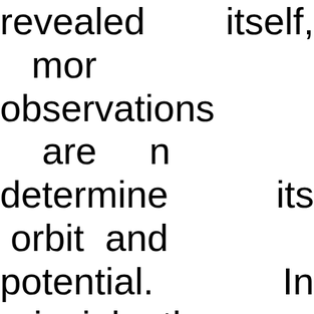revealed itself, more observations are needed to determine its orbit and hazard potential. In principle, the sooner we detect an object the more time we have to do something about it. This can take months or even years to deliver the equipment needed to deflect the asteroid. How